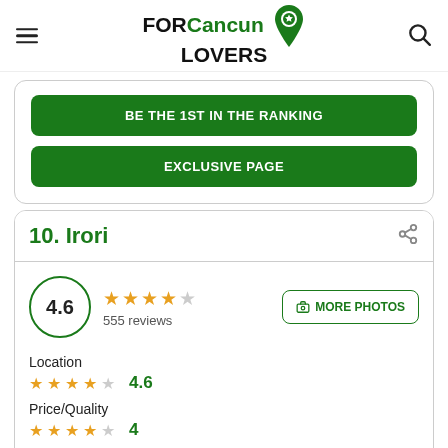FOR Cancun LOVERS
BE THE 1ST IN THE RANKING
EXCLUSIVE PAGE
10. Irori
4.6 ★★★★☆ 555 reviews
MORE PHOTOS
Location
★★★★☆ 4.6
Price/Quality
★★★★☆ 4
Service